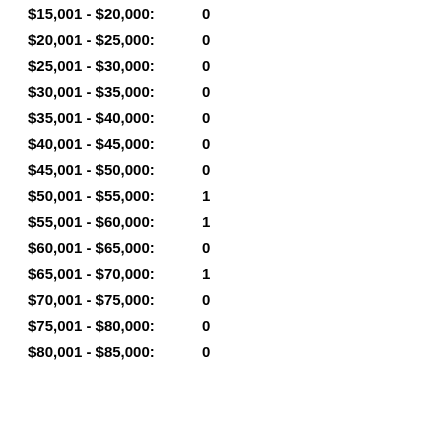$15,001 - $20,000:  0
$20,001 - $25,000:  0
$25,001 - $30,000:  0
$30,001 - $35,000:  0
$35,001 - $40,000:  0
$40,001 - $45,000:  0
$45,001 - $50,000:  0
$50,001 - $55,000:  1
$55,001 - $60,000:  1
$60,001 - $65,000:  0
$65,001 - $70,000:  1
$70,001 - $75,000:  0
$75,001 - $80,000:  0
$80,001 - $85,000:  0